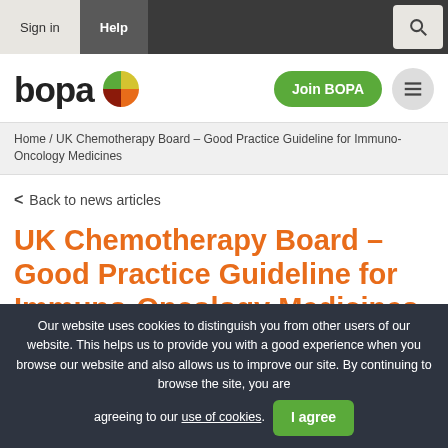Sign in | Help
[Figure (logo): BOPA logo with pie-chart icon in green, yellow, orange, and red segments]
Join BOPA
Home / UK Chemotherapy Board – Good Practice Guideline for Immuno-Oncology Medicines
< Back to news articles
UK Chemotherapy Board – Good Practice Guideline for Immuno-Oncology Medicines
Our website uses cookies to distinguish you from other users of our website. This helps us to provide you with a good experience when you browse our website and also allows us to improve our site. By continuing to browse the site, you are agreeing to our use of cookies.